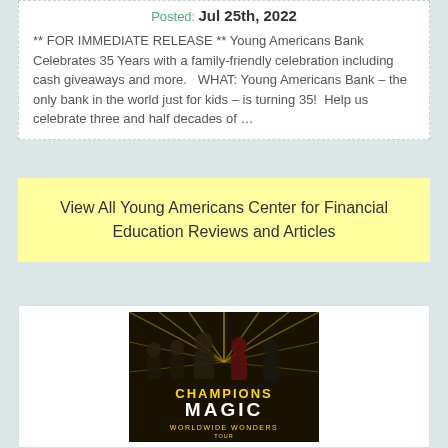Posted: Jul 25th, 2022
** FOR IMMEDIATE RELEASE ** Young Americans Bank Celebrates 35 Years with a family-friendly celebration including cash giveaways and more.   WHAT: Young Americans Bank – the only bank in the world just for kids – is turning 35!  Help us celebrate three and half decades of …
View All Young Americans Center for Financial Education Reviews and Articles
[Figure (photo): Champions Magic Worldwide Wonders Tour promotional image showing five performers in dramatic poses against a gold starburst background with show title text]